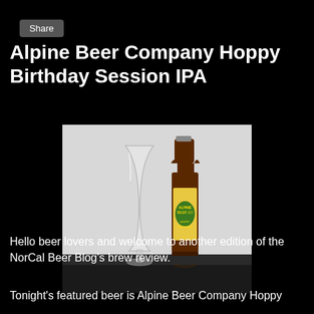Share
Alpine Beer Company Hoppy Birthday Session IPA
[Figure (photo): A beer glass and a bottle of Alpine Beer Company Hoppy Birthday Session IPA side by side on a dark surface against a light background.]
Hello beer lovers and welcome to another edition of the NorCal Beer Blog's brew review.
Tonight's featured beer is Alpine Beer Company Hoppy